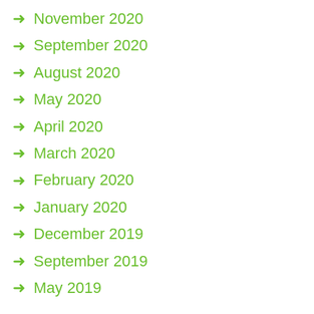November 2020
September 2020
August 2020
May 2020
April 2020
March 2020
February 2020
January 2020
December 2019
September 2019
May 2019